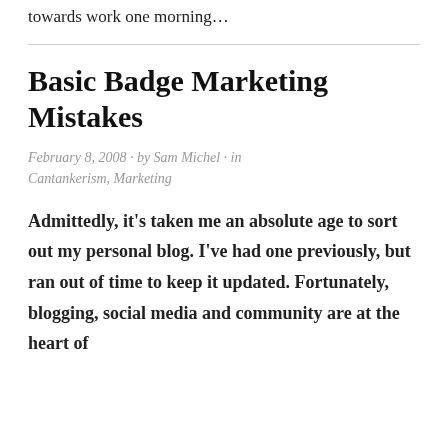towards work one morning…
Basic Badge Marketing Mistakes
February 8, 2008 · by Sam Michel · in Cantankerism, Marketing
Admittedly, it's taken me an absolute age to sort out my personal blog. I've had one previously, but ran out of time to keep it updated. Fortunately, blogging, social media and community are at the heart of